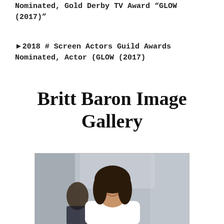Nominated, Gold Derby TV Award “GLOW (2017)”
► 2018 # Screen Actors Guild Awards Nominated, Actor (GLOW (2017)
Britt Baron Image Gallery
[Figure (photo): Photo of Britt Baron, a woman with dark shoulder-length wavy hair smiling, wearing a white top, with another woman in dark clothing visible in the background]